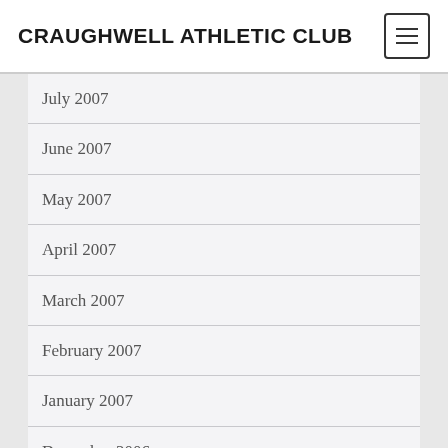CRAUGHWELL ATHLETIC CLUB
July 2007
June 2007
May 2007
April 2007
March 2007
February 2007
January 2007
December 2006
November 2006
October 2006